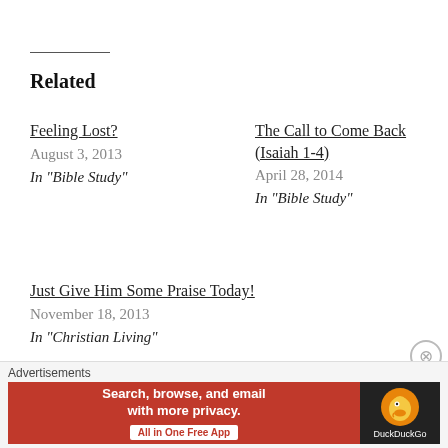Related
Feeling Lost?
August 3, 2013
In "Bible Study"
The Call to Come Back (Isaiah 1-4)
April 28, 2014
In "Bible Study"
Just Give Him Some Praise Today!
November 18, 2013
In "Christian Living"
Posted in Worship
Advertisements
[Figure (screenshot): DuckDuckGo advertisement banner: red left section with text 'Search, browse, and email with more privacy.' and 'All in One Free App' button, dark right section with DuckDuckGo logo]